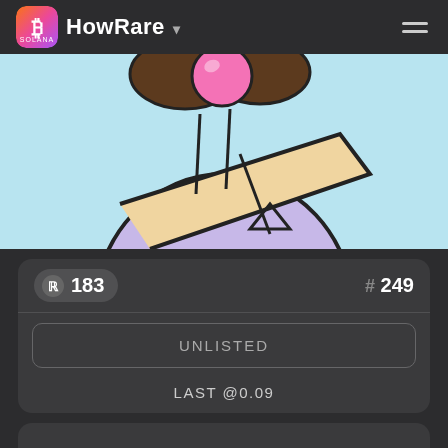HowRare
[Figure (illustration): NFT cartoon illustration: a round character wearing a light purple hoodie with a sash/strap, brown hair, blowing a pink bubble gum bubble, on a light blue background. Only the lower half of the character is visible.]
ℝ 183
# 249
UNLISTED
LAST @0.09